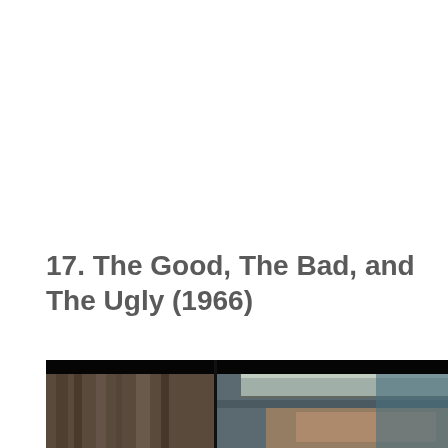17. The Good, The Bad, and The Ugly (1966)
[Figure (photo): A film still from The Good, The Bad, and The Ugly (1966), split-frame showing two scenes: a textured wooden/wall surface on the left, and a close-up of a man wearing a wide-brimmed hat on the right.]